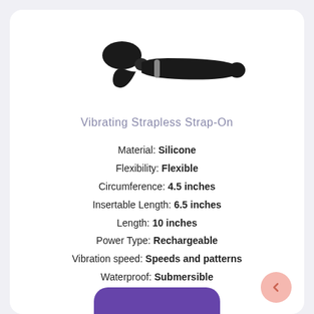[Figure (photo): Black vibrating strapless strap-on product photo on white background]
Vibrating Strapless Strap-On
Material: Silicone
Flexibility: Flexible
Circumference: 4.5 inches
Insertable Length: 6.5 inches
Length: 10 inches
Power Type: Rechargeable
Vibration speed: Speeds and patterns
Waterproof: Submersible